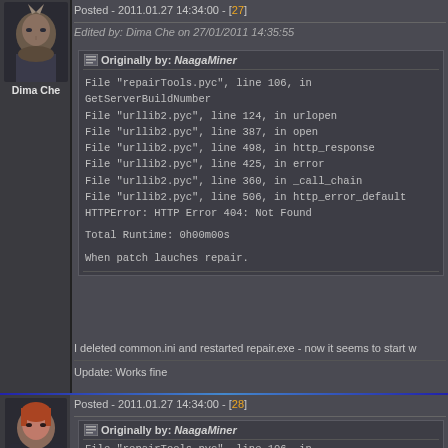Posted - 2011.01.27 14:34:00 - [27]
Edited by: Dima Che on 27/01/2011 14:35:55
Originally by: NaagaMiner
File "repairTools.pyc", line 106, in GetServerBuildNumber
File "urllib2.pyc", line 124, in urlopen
File "urllib2.pyc", line 387, in open
File "urllib2.pyc", line 498, in http_response
File "urllib2.pyc", line 425, in error
File "urllib2.pyc", line 360, in _call_chain
File "urllib2.pyc", line 506, in http_error_default
HTTPError: HTTP Error 404: Not Found

Total Runtime: 0h00m00s

When patch lauches repair.
I deleted common.ini and restarted repair.exe - now it seems to start w
Update: Works fine
Posted - 2011.01.27 14:34:00 - [28]
Originally by: NaagaMiner
File "repairTools.pyc", line 106, in GetServerBuildNumber
Dima Che
CCP Atropos